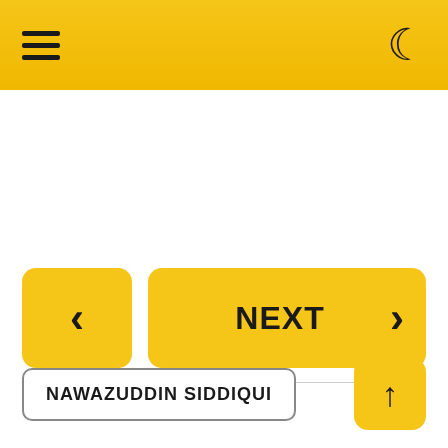Navigation bar with hamburger menu and dark mode toggle
[Figure (screenshot): Navigation buttons: back arrow button (yellow square) and NEXT button (yellow wide button with right arrow)]
NAWAZUDDIN SIDDIQUI
[Figure (screenshot): Up arrow button (yellow square)]